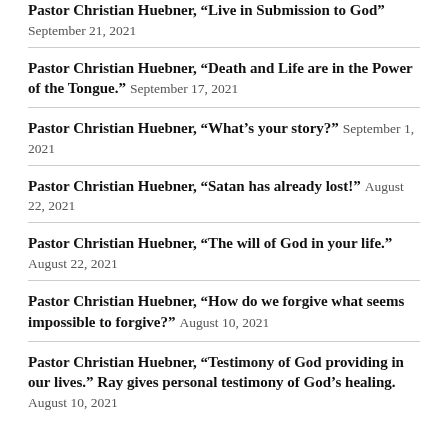Pastor Christian Huebner, “Live in Submission to God” September 21, 2021
Pastor Christian Huebner, “Death and Life are in the Power of the Tongue.” September 17, 2021
Pastor Christian Huebner, “What’s your story?” September 1, 2021
Pastor Christian Huebner, “Satan has already lost!” August 22, 2021
Pastor Christian Huebner, “The will of God in your life.” August 22, 2021
Pastor Christian Huebner, “How do we forgive what seems impossible to forgive?” August 10, 2021
Pastor Christian Huebner, “Testimony of God providing in our lives.” Ray gives personal testimony of God’s healing. August 10, 2021